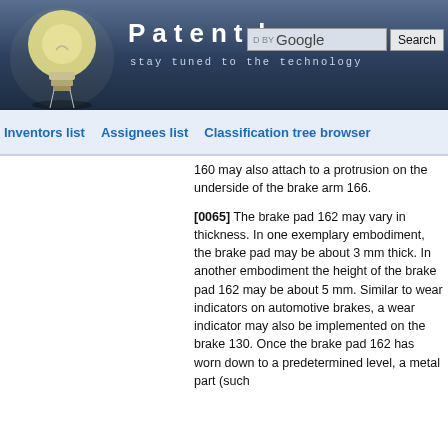Patentdocs — stay tuned to the technology
Inventors list | Assignees list | Classification tree browser
160 may also attach to a protrusion on the underside of the brake arm 166.
[0065] The brake pad 162 may vary in thickness. In one exemplary embodiment, the brake pad may be about 3 mm thick. In another embodiment the height of the brake pad 162 may be about 5 mm. Similar to wear indicators on automotive brakes, a wear indicator may also be implemented on the brake 130. Once the brake pad 162 has worn down to a predetermined level, a metal part (such